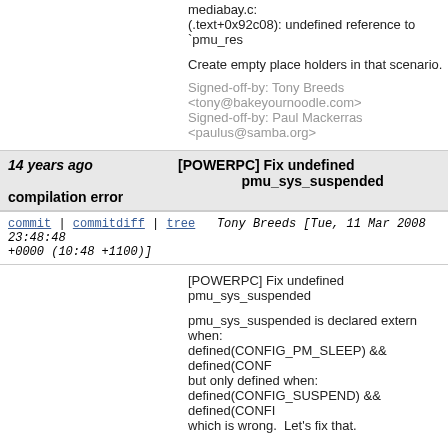mediabay.c:
(.text+0x92c08): undefined reference to `pmu_res
Create empty place holders in that scenario.
Signed-off-by: Tony Breeds <tony@bakeyournoodle.com>
Signed-off-by: Paul Mackerras <paulus@samba.org>
14 years ago   [POWERPC] Fix undefined pmu_sys_suspended compilation error
commit | commitdiff | tree   Tony Breeds [Tue, 11 Mar 2008 23:48:48 +0000 (10:48 +1100)]
[POWERPC] Fix undefined pmu_sys_suspended
pmu_sys_suspended is declared extern when:
defined(CONFIG_PM_SLEEP) && defined(CONF
but only defined when:
defined(CONFIG_SUSPEND) && defined(CONFI
which is wrong.  Let's fix that.
Signed-off-by: Tony Breeds <tony@bakeyournoodle.com>
Signed-off-by: Paul Mackerras <paulus@samba.org>
14 years ago   [POWERPC] Fix build of modular drivers/macintosh/apm_emu.c